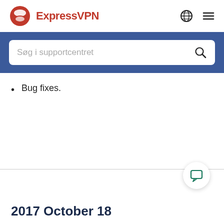ExpressVPN
Søg i supportcentret
Bug fixes.
2017 October 18